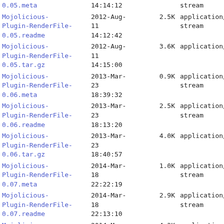| Name | Date | Size | Type |
| --- | --- | --- | --- |
| 0.05.meta | 14:14:12 |  | stream |
| Mojolicious-Plugin-RenderFile-0.05.readme | 2012-Aug-11
14:12:42 | 2.5K | application/octet-stream |
| Mojolicious-Plugin-RenderFile-0.05.tar.gz | 2012-Aug-11
14:15:00 | 3.6K | application/gzip |
| Mojolicious-Plugin-RenderFile-0.06.meta | 2013-Mar-23
18:39:32 | 0.9K | application/octet-stream |
| Mojolicious-Plugin-RenderFile-0.06.readme | 2013-Mar-23
18:13:20 | 2.5K | application/octet-stream |
| Mojolicious-Plugin-RenderFile-0.06.tar.gz | 2013-Mar-23
18:40:57 | 4.0K | application/gzip |
| Mojolicious-Plugin-RenderFile-0.07.meta | 2014-Mar-18
22:22:19 | 1.0K | application/octet-stream |
| Mojolicious-Plugin-RenderFile-0.07.readme | 2014-Mar-18
22:13:10 | 2.9K | application/octet-stream |
| Mojolicious-Plugin-RenderFile-0.07.tar.gz | 2014-Mar-18
22:25:01 | 4.3K | application/gzip |
| Mojolicious-Plugin-RenderFile-0.08.meta | 2014-May-16
15:42:55 | 1.0K | application/octet-stream |
| Mojolicious-Plugin-RenderFile-0.08.readme | 2014-May-16
15:40:54 | 3.0K | application/octet-stream |
| Mojolicious- | 2014-May- |  |  |